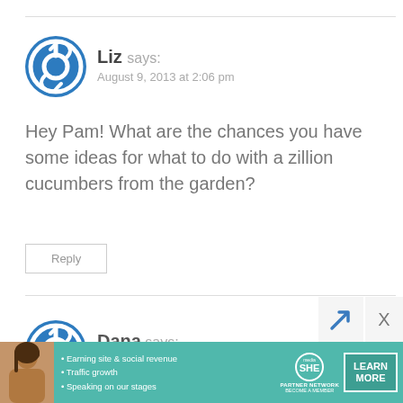[Figure (illustration): Blue circular power/link icon avatar for user Liz]
Liz says:
August 9, 2013 at 2:06 pm
Hey Pam! What are the chances you have some ideas for what to do with a zillion cucumbers from the garden?
Reply
[Figure (illustration): Blue circular power/link icon avatar for user Dana]
Dana says:
August 9, 2013 at 3:40 pm
[Figure (infographic): SHE Partner Network advertisement banner with woman photo, bullet points: Earning site & social revenue, Traffic growth, Speaking on our stages, SHE logo, LEARN MORE button]